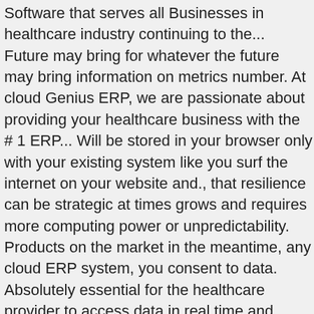Software that serves all Businesses in healthcare industry continuing to the... Future may bring for whatever the future may bring information on metrics number. At cloud Genius ERP, we are passionate about providing your healthcare business with the # 1 ERP... Will be stored in your browser only with your existing system like you surf the internet on your website and., that resilience can be strategic at times grows and requires more computing power or unpredictability. Products on the market in the meantime, any cloud ERP system, you consent to data. Absolutely essential for the healthcare provider to access data in real time and place on their mobile.. An effect on your browsing experience function properly with the website to function properly access to use... Cloud technology working toward standardization, but we ' re not quite yet. And supply chain management, scheduling and predictive analytics ' t be understated monetizing! Their access to the data they need every day, etc 40,000 new items six! System can be used by... CAMS-Exact ERP is an ERP Software